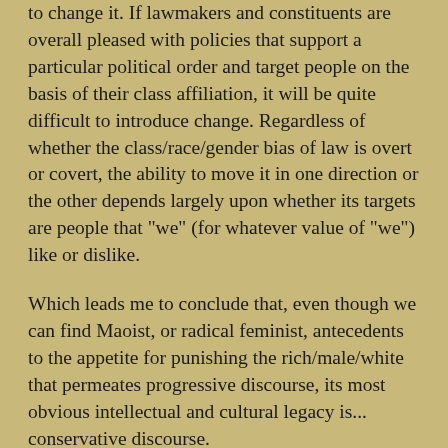to change it. If lawmakers and constituents are overall pleased with policies that support a particular political order and target people on the basis of their class affiliation, it will be quite difficult to introduce change. Regardless of whether the class/race/gender bias of law is overt or covert, the ability to move it in one direction or the other depends largely upon whether its targets are people that "we" (for whatever value of "we") like or dislike.
Which leads me to conclude that, even though we can find Maoist, or radical feminist, antecedents to the appetite for punishing the rich/male/white that permeates progressive discourse, its most obvious intellectual and cultural legacy is... conservative discourse.
Conservatives and progressives don't live on different planets. The American public (as well as the American academic scene) has experienced decades of exposure to punitive ideologies and policies, and these, as well as their legacies, are bound to leave imprints on social movements of all stripes. Criminal justice and punishment scholarship in the United States is steeped in this punitive legacy--and this